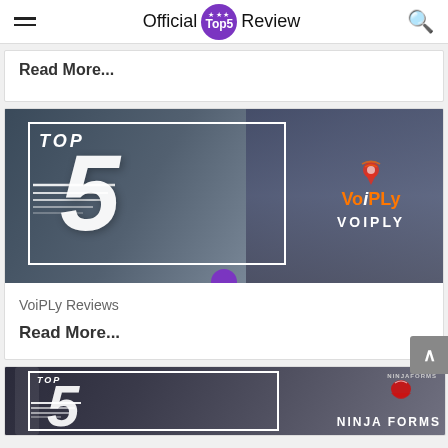Official Top5 Review
Read More...
[Figure (screenshot): Top 5 VoiPLy review banner with woman on phone background, white border frame, large stylized number 5, TOP text, speed lines, and VoiPLy logo/brand name]
VoiPly Reviews
Read More...
[Figure (screenshot): Top 5 Ninja Forms review banner with smartphone background, white border frame, large stylized number 5, TOP text, speed lines, and Ninja Forms logo/brand name]